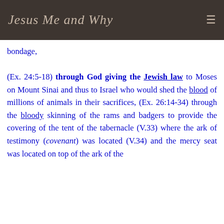Jesus Me and Why
bondage, (Ex. 24:5-18) through God giving the Jewish law to Moses on Mount Sinai and thus to Israel who would shed the blood of millions of animals in their sacrifices, (Ex. 26:14-34) through the bloody skinning of the rams and badgers to provide the covering of the tent of the tabernacle (V.33) where the ark of testimony (covenant) was located (V.34) and the mercy seat was located on top of the ark of the